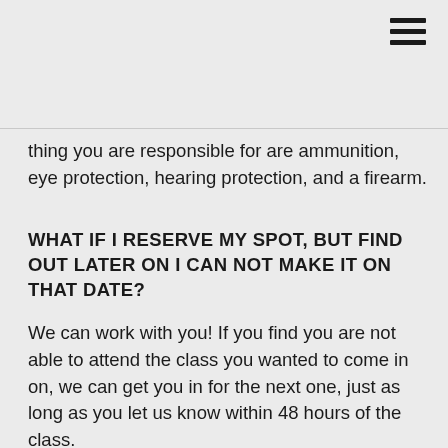thing you are responsible for are ammunition, eye protection, hearing protection, and a firearm.
WHAT IF I RESERVE MY SPOT, BUT FIND OUT LATER ON I CAN NOT MAKE IT ON THAT DATE?
We can work with you! If you find you are not able to attend the class you wanted to come in on, we can get you in for the next one, just as long as you let us know within 48 hours of the class.